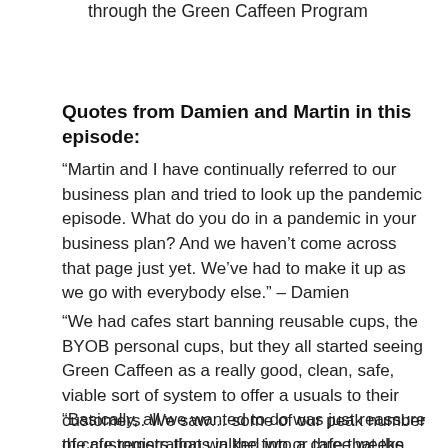through the Green Caffeen Program
Quotes from Damien and Martin in this episode:
“Martin and I have continually referred to our business plan and tried to look up the pandemic episode. What do you do in a pandemic in your business plan? And we haven’t come across that page just yet. We’ve had to make it up as we go with everybody else.” – Damien
“We had cafes start banning reusable cups, the BYOB personal cups, but they all started seeing Green Caffeen as a really good, clean, safe, viable sort of system to offer a usuals to their customers. We saw… some of our peak number of cafe registrations in the two or three weeks when Covid first came out.” – Damien
“Basically, all we wanted to do was just reassure the customers that walked into a cafe that the Green Caffeen